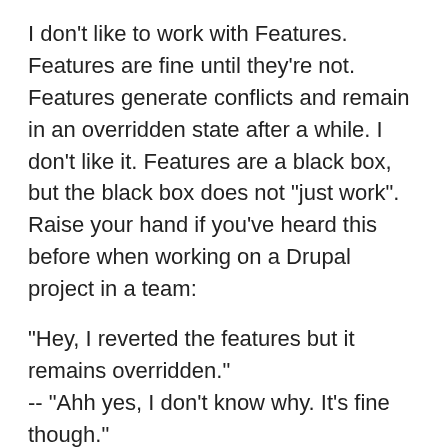I don't like to work with Features. Features are fine until they're not. Features generate conflicts and remain in an overridden state after a while. I don't like it. Features are a black box, but the black box does not "just work". Raise your hand if you've heard this before when working on a Drupal project in a team:
"Hey, I reverted the features but it remains overridden."
-- "Ahh yes, I don't know why. It's fine though."
So often everybody assumes it's fine but basically nobody has a clue anymore about what's going on with that feature in a website.
That's why with the last project I did I said, no features. We do everything in code. Which, admittedly, is a bit crazy too. You burn more time, and thus money, on the project putting all the field bases, field instances, Display Suite field info and Display Suite view layouts into code.